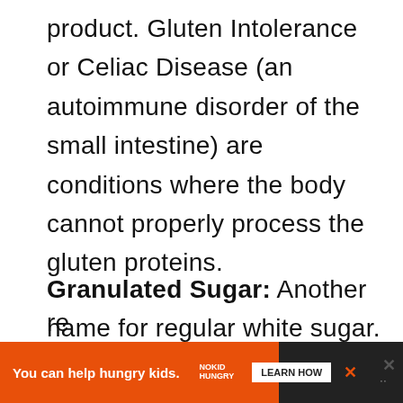product. Gluten Intolerance or Celiac Disease (an autoimmune disorder of the small intestine) are conditions where the body cannot properly process the gluten proteins.
Granulated Sugar: Another name for regular white sugar. It can be made from sugar beets or sugarcane. Always buy cane sugar for baking. It has fewer impurities and will give you consistent re...
[Figure (other): Advertisement banner: orange background with text 'You can help hungry kids.' and No Kid Hungry logo with 'LEARN HOW' button. Dark right section with close X icons.]